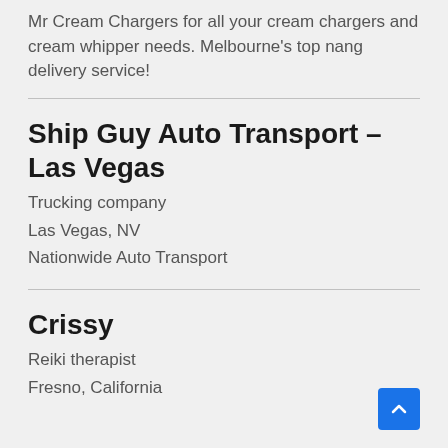Mr Cream Chargers for all your cream chargers and cream whipper needs. Melbourne's top nang delivery service!
Ship Guy Auto Transport – Las Vegas
Trucking company
Las Vegas, NV
Nationwide Auto Transport
Crissy
Reiki therapist
Fresno, California